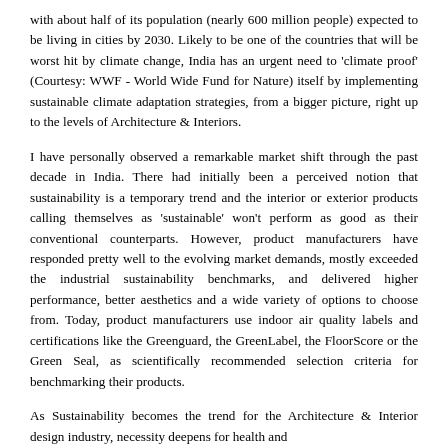with about half of its population (nearly 600 million people) expected to be living in cities by 2030. Likely to be one of the countries that will be worst hit by climate change, India has an urgent need to 'climate proof' (Courtesy: WWF - World Wide Fund for Nature) itself by implementing sustainable climate adaptation strategies, from a bigger picture, right up to the levels of Architecture & Interiors.
I have personally observed a remarkable market shift through the past decade in India. There had initially been a perceived notion that sustainability is a temporary trend and the interior or exterior products calling themselves as 'sustainable' won't perform as good as their conventional counterparts. However, product manufacturers have responded pretty well to the evolving market demands, mostly exceeded the industrial sustainability benchmarks, and delivered higher performance, better aesthetics and a wide variety of options to choose from. Today, product manufacturers use indoor air quality labels and certifications like the Greenguard, the GreenLabel, the FloorScore or the Green Seal, as scientifically recommended selection criteria for benchmarking their products.
As Sustainability becomes the trend for the Architecture & Interior design industry, necessity deepens for health and